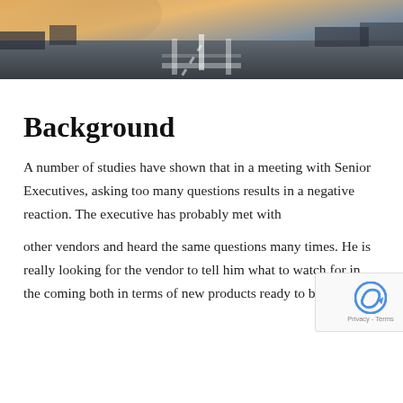[Figure (photo): Aerial or street-level view of a road/intersection with warm sunset lighting in the upper portion and darker road surface below]
Background
A number of studies have shown that in a meeting with Senior Executives, asking too many questions results in a negative reaction. The executive has probably met with
other vendors and heard the same questions many times. He is really looking for the vendor to tell him what to watch for in the coming both in terms of new products ready to be